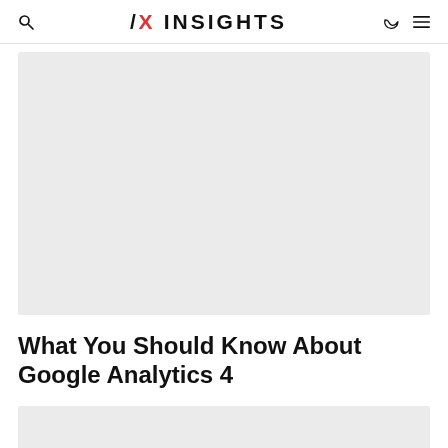AX INSIGHTS
[Figure (photo): Large light grey image placeholder rectangle at top of article]
What You Should Know About Google Analytics 4
[Figure (photo): Partial light grey image placeholder rectangle at bottom of page]